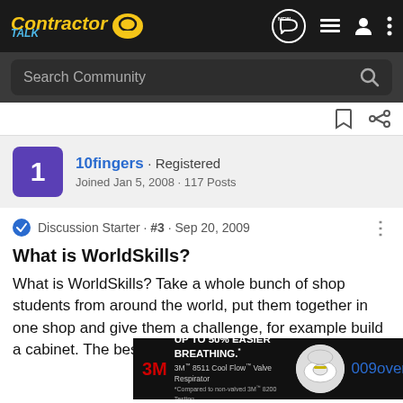ContractorTalk
Search Community
10fingers · Registered
Joined Jan 5, 2008 · 117 Posts
Discussion Starter · #3 · Sep 20, 2009
What is WorldSkills?
What is WorldSkills? Take a whole bunch of shop students from around the world, put them together in one shop and give them a challenge, for example build a cabinet. The best student is the one http://ww...009over
[Figure (screenshot): 3M advertisement overlay: UP TO 50% EASIER BREATHING. 3M 8511 Cool Flow Valve Respirator.]